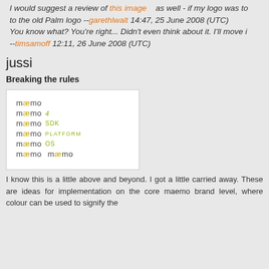I would suggest a review of this image as well - if my logo was to the old Palm logo --garethlwalt 14:47, 25 June 2008 (UTC) You know what? You're right... Didn't even think about it. I'll move it. --timsamoff 12:11, 26 June 2008 (UTC)
jussi
Breaking the rules
[Figure (illustration): Maemo logo variants showing different suffixes: maemo, maemo 4, maemo SDK, maemo PLATFORM, maemo OS, and two side-by-side maemo logos, with the 'ae' characters styled in yellow/gold and suffixes in green.]
I know this is a little above and beyond. I got a little carried away. These are ideas for implementation on the core maemo brand level, where colour can be used to signify the